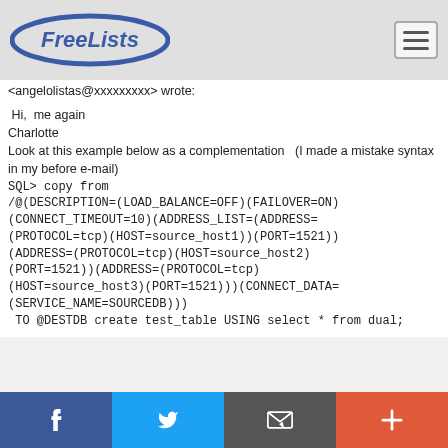FreeLists
<angelolistas@xxxxxxxxx> wrote:
Hi,  me again
Charlotte
Look at this example below as a complementation   (I made a mistake syntax in my before e-mail)
SQL> copy from /@(DESCRIPTION=(LOAD_BALANCE=OFF)(FAILOVER=ON)(CONNECT_TIMEOUT=10)(ADDRESS_LIST=(ADDRESS=(PROTOCOL=tcp)(HOST=source_host1)(PORT=1521))(ADDRESS=(PROTOCOL=tcp)(HOST=source_host2)(PORT=1521))(ADDRESS=(PROTOCOL=tcp)(HOST=source_host3)(PORT=1521)))(CONNECT_DATA=(SERVICE_NAME=SOURCEDB)))
TO @DESTDB create test_table USING select * from dual;
Facebook | Twitter | Email | Plus